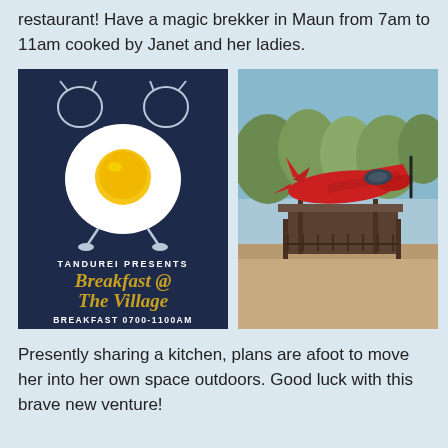restaurant! Have a magic brekker in Maun from 7am to 11am cooked by Janet and her ladies.
[Figure (illustration): Promotional poster with dark navy background. Shows an alarm clock graphic with a fried egg in the center. Text reads: TANDUREI PRESENTS, Breakfast @ The Village, BREAKFAST 0700-1100AM]
[Figure (photo): Outdoor photo of a red small aircraft/plane mounted or displayed above a rustic outdoor restaurant structure with trees in the background.]
Presently sharing a kitchen, plans are afoot to move her into her own space outdoors. Good luck with this brave new venture!